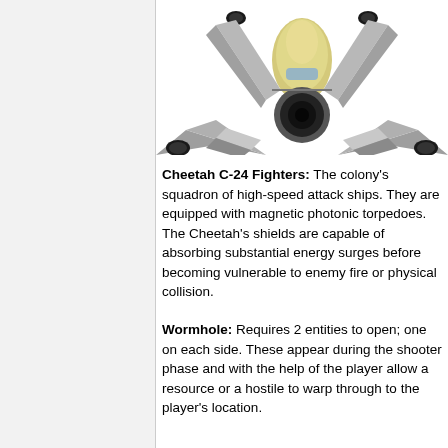[Figure (illustration): Hand-drawn illustration of a Cheetah C-24 Fighter spacecraft viewed from below/behind, showing a central yellow fuselage with a large round engine, four swept wings with grey checkered pattern, and black-tipped gun pods at the wing ends.]
Cheetah C-24 Fighters: The colony's squadron of high-speed attack ships. They are equipped with magnetic photonic torpedoes. The Cheetah's shields are capable of absorbing substantial energy surges before becoming vulnerable to enemy fire or physical collision.
Wormhole: Requires 2 entities to open; one on each side. These appear during the shooter phase and with the help of the player allow a resource or a hostile to warp through to the player's location.